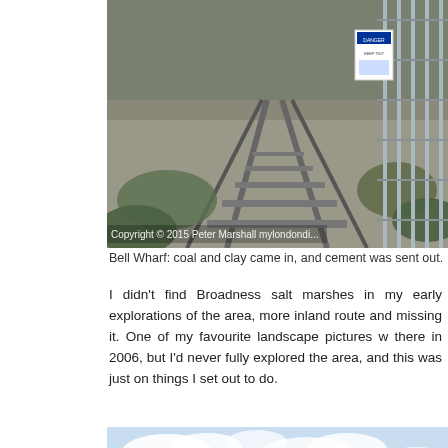[Figure (photo): Railway tracks converging toward a metal fence/gate with a danger sign, with green vegetation growing between the tracks. Industrial area photo.]
Bell Wharf: coal and clay came in, and cement was sent out. Taken standing on the B
I didn't find Broadness salt marshes in my early explorations of the area, more inland route and missing it. One of my favourite landscape pictures w there in 2006, but I'd never fully explored the area, and this was just on things I set out to do.
[Figure (photo): Wide view of a salt marsh and waterway with moored boats and wooden jetties in the foreground, industrial buildings and silos visible in the background under a partly cloudy sky.]